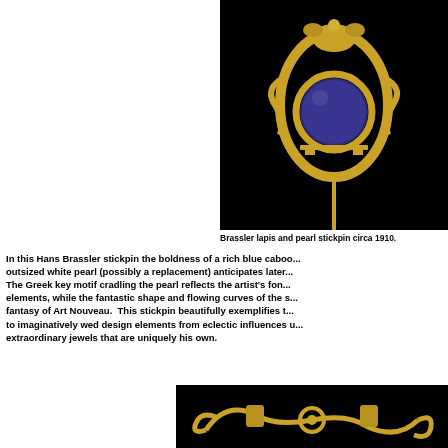[Figure (photo): Close-up photograph of a Hans Brassler gold stickpin with a large blue lapis cabochon set in an ornate gold oval frame with Greek key motif, on a black background, circa 1910.]
Brassler lapis and pearl stickpin circa 1910.
In this Hans Brassler stickpin the boldness of a rich blue cabochon outsized white pearl (possibly a replacement) anticipates later. The Greek key motif cradling the pearl reflects the artist's fondness for classic elements, while the fantastic shape and flowing curves of the setting evoke the fantasy of Art Nouveau.  This stickpin beautifully exemplifies Brassler's ability to imaginatively wed design elements from eclectic influences to create extraordinary jewels that are uniquely his own.
[Figure (photo): Close-up photograph of the bottom portion of a Hans Brassler gold jewelry piece showing ornate gold scrollwork and curved elements on a black background.]